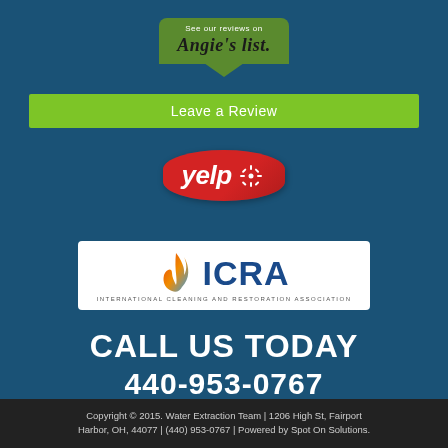[Figure (logo): Angie's List badge with text 'See our reviews on Angie's list.']
Leave a Review
[Figure (logo): Yelp logo - red oval with white text 'yelp' and snowflake burst icon]
[Figure (logo): ICRA logo - International Cleaning and Restoration Association, white box with flame icon and blue text]
CALL US TODAY
440-953-0767
[Figure (other): Facebook and Google+ social media icon buttons in gold/orange circles]
Copyright © 2015. Water Extraction Team | 1206 High St, Fairport Harbor, OH, 44077 | (440) 953-0767 | Powered by Spot On Solutions.